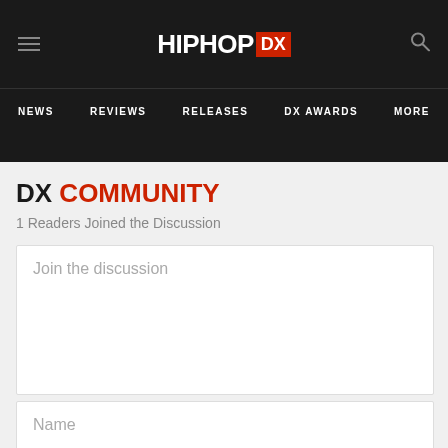HIPHOP DX — Navigation: NEWS, REVIEWS, RELEASES, DX AWARDS, MORE
DX COMMUNITY
1 Readers Joined the Discussion
Join the discussion
Name
E-mail